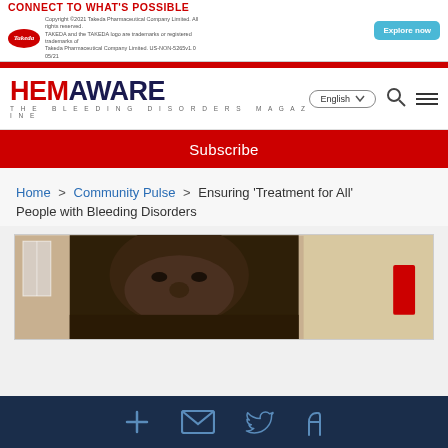[Figure (other): Takeda pharmaceutical advertisement banner: 'CONNECT TO WHAT'S POSSIBLE' with Explore now button and Takeda logo with copyright text]
[Figure (logo): HemAware - The Bleeding Disorders Magazine logo with navigation controls: English language selector, search icon, menu icon]
Subscribe
Home > Community Pulse > Ensuring ‘Treatment for All’ People with Bleeding Disorders
[Figure (photo): Photo of a person (appears to be a young Black man) looking at the camera, in what appears to be a medical or indoor setting]
Social media icons: add/plus, email/envelope, Twitter bird, Facebook f